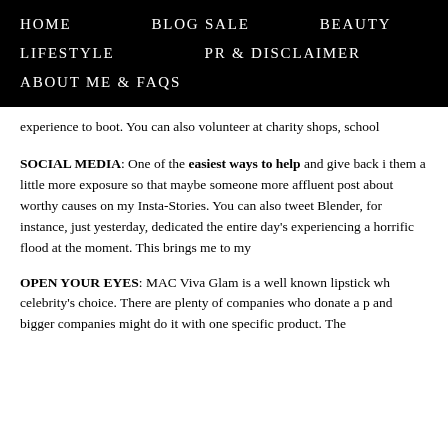HOME   BLOG SALE   BEAUTY
LIFESTYLE   PR & DISCLAIMER
ABOUT ME & FAQs
experience to boot. You can also volunteer at charity shops, school
SOCIAL MEDIA: One of the easiest ways to help and give back i them a little more exposure so that maybe someone more affluent post about worthy causes on my Insta-Stories. You can also tweet Blender, for instance, just yesterday, dedicated the entire day's experiencing a horrific flood at the moment. This brings me to my
OPEN YOUR EYES: MAC Viva Glam is a well known lipstick wh celebrity's choice. There are plenty of companies who donate a p and bigger companies might do it with one specific product. The